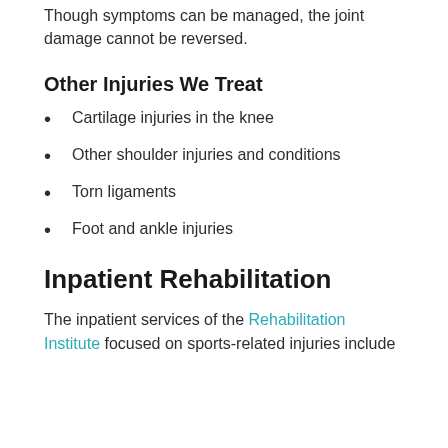Though symptoms can be managed, the joint damage cannot be reversed.
Other Injuries We Treat
Cartilage injuries in the knee
Other shoulder injuries and conditions
Torn ligaments
Foot and ankle injuries
Inpatient Rehabilitation
The inpatient services of the Rehabilitation Institute focused on sports-related injuries include